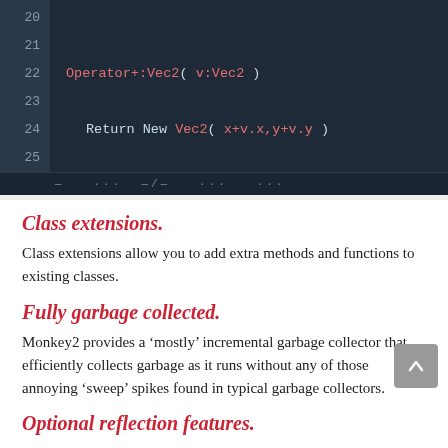[Figure (screenshot): Code editor screenshot showing Monkey2 code with line numbers 20-29. Lines include: Operator+:Vec2( v:Vec2 ), Return New Vec2( x+v.x,y+v.y ), End, and Operator To:String()]
Class extensions.
Class extensions allow you to add extra methods and functions to existing classes.
Fully garbage collected.
Monkey2 provides a ‘mostly’ incremental garbage collector that efficiently collects garbage as it runs without any of those annoying ‘sweep’ spikes found in typical garbage collectors.
Optional reflection features.